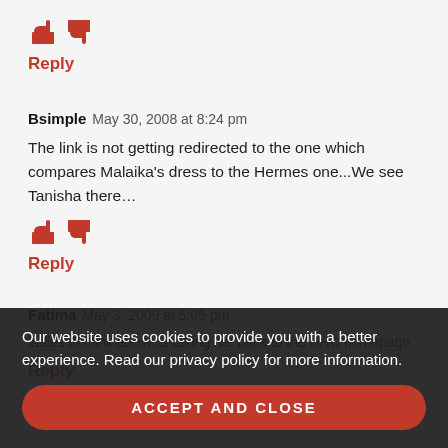[Figure (other): Thumbs up and thumbs down icons in red]
Reply
Bsimple May 30, 2008 at 8:24 pm
The link is not getting redirected to the one which compares Malaika's dress to the Hermes one...We see Tanisha there...
[Figure (other): Thumbs up and thumbs down icons in red]
Reply
Fatima May 3, 2009 at 5:05 pm
ladies the link above is taking me back to the HHC homepage
Reply
Our website uses cookies to provide you with a better experience. Read our privacy policy for more information.
ACCEPT AND CLOSE